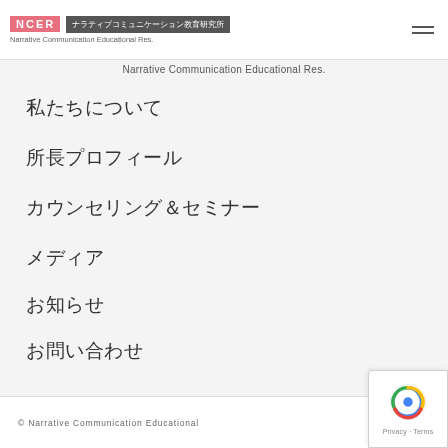NCER ナラティブコミュニケーション教育研究所 Narrative Communication Educational Res.
Narrative Communication Educational Res.
私たちについて
所長プロフィール
カウンセリング＆セミナー
メディア
お知らせ
お問い合わせ
© Narrative Communication Educational